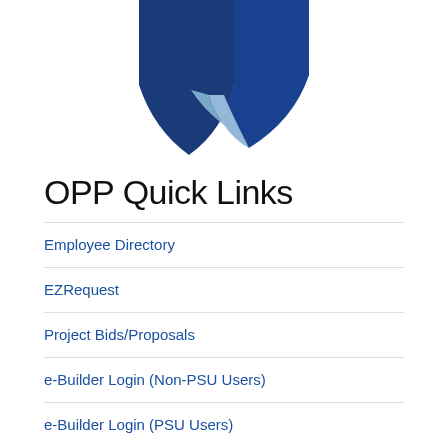[Figure (logo): Penn State OPP shield/logo in dark blue and light blue]
OPP Quick Links
Employee Directory
EZRequest
Project Bids/Proposals
e-Builder Login (Non-PSU Users)
e-Builder Login (PSU Users)